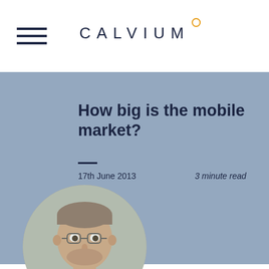CALVIUM
How big is the mobile market?
17th June 2013
3 minute read
[Figure (photo): Circular portrait photo of a young man with glasses, short hair and beard, wearing a striped black and white shirt, smiling.]
Alumni: Kieron Gurner
UX & Design Lead